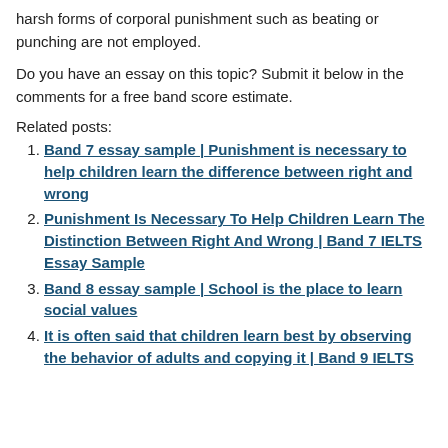harsh forms of corporal punishment such as beating or punching are not employed.
Do you have an essay on this topic? Submit it below in the comments for a free band score estimate.
Related posts:
Band 7 essay sample | Punishment is necessary to help children learn the difference between right and wrong
Punishment Is Necessary To Help Children Learn The Distinction Between Right And Wrong | Band 7 IELTS Essay Sample
Band 8 essay sample | School is the place to learn social values
It is often said that children learn best by observing the behavior of adults and copying it | Band 9 IELTS